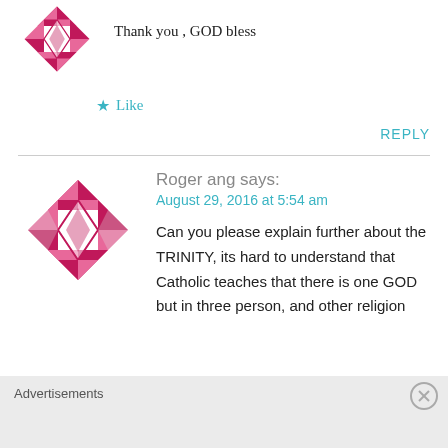[Figure (logo): Decorative circular avatar with pink/magenta geometric diamond pattern (partial, top cropped)]
Thank you , GOD bless
★ Like
REPLY
[Figure (logo): Decorative circular avatar with pink/magenta geometric diamond pattern]
Roger ang says:
August 29, 2016 at 5:54 am
Can you please explain further about the TRINITY, its hard to understand that Catholic teaches that there is one GOD but in three person, and other religion
Advertisements